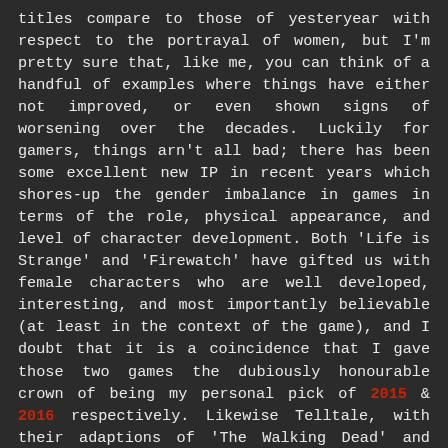titles compare to those of yesteryear with respect to the portrayal of women, but I'm pretty sure that, like me, you can think of a handful of examples where things have either not improved, or even shown signs of worsening over the decades. Luckily for gamers, things arn't all bad; there has been some excellent new IP in recent years which shores-up the gender imbalance in games in terms of the role, physical appearance, and level of character development. Both 'Life is Strange' and 'Firewatch' have gifted us with female characters who are well developed, interesting, and most importantly believable (at least in the context of the game), and I doubt that it is a coincidence that I gave those two games the dubiously honourable crown of being my personal pick of 2015 & 2016 respectively. Likewise Telltale, with their adaptions of 'The Walking Dead' and 'The Wolf Among Us' (and I'm assuming their other interpretations of popular franchises), have excelled in providing well developed characters, regardless of gender. Away from story driven